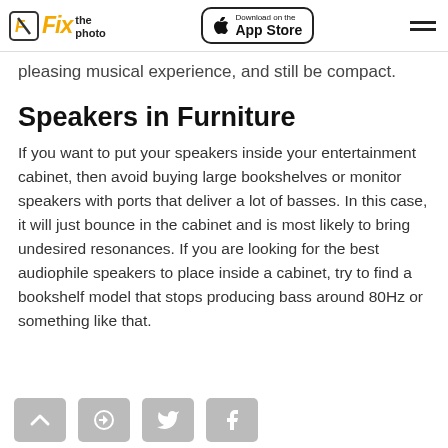Fix the photo | Download on the App Store
pleasing musical experience, and still be compact.
Speakers in Furniture
If you want to put your speakers inside your entertainment cabinet, then avoid buying large bookshelves or monitor speakers with ports that deliver a lot of basses. In this case, it will just bounce in the cabinet and is most likely to bring undesired resonances. If you are looking for the best audiophile speakers to place inside a cabinet, try to find a bookshelf model that stops producing bass around 80Hz or something like that.